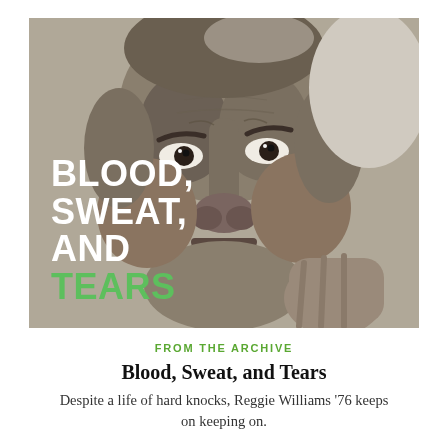[Figure (photo): Close-up black and white portrait photograph of Reggie Williams, a middle-aged Black man, resting his chin on his hand and looking directly at the camera. Overlaid text in the lower-left reads 'BLOOD, SWEAT, AND TEARS' in bold white and green capital letters.]
FROM THE ARCHIVE
Blood, Sweat, and Tears
Despite a life of hard knocks, Reggie Williams '76 keeps on keeping on.